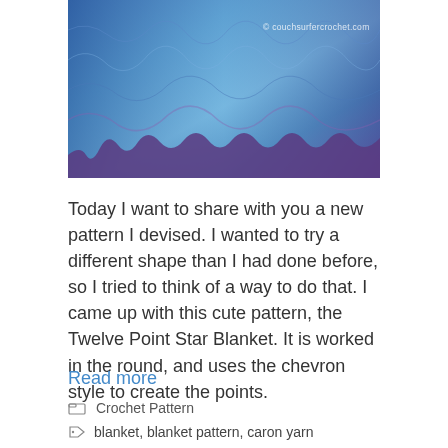[Figure (photo): Photo of a crocheted Twelve Point Star Blanket in blue, purple and teal tones, laid flat on a beige surface. Watermark reads '© couchsurfercrochet.com'.]
Today I want to share with you a new pattern I devised. I wanted to try a different shape than I had done before, so I tried to think of a way to do that. I came up with this cute pattern, the Twelve Point Star Blanket. It is worked in the round, and uses the chevron style to create the points.
Read more
Crochet Pattern
blanket, blanket pattern, caron yarn